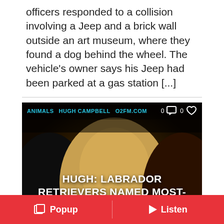officers responded to a collision involving a Jeep and a brick wall outside an art museum, where they found a dog behind the wheel. The vehicle's owner says his Jeep had been parked at a gas station [...]
[Figure (photo): Three Labrador Retrievers (black, yellow, and chocolate) close together, with overlaid text headline about Labrador Retrievers being named most-popular dog breed and French Bulldogs moving to second place. Tags at top: ANIMALS, HUGH CAMPBELL, O2FM.COM with comment and like count icons showing 0 each.]
Popup  Listen